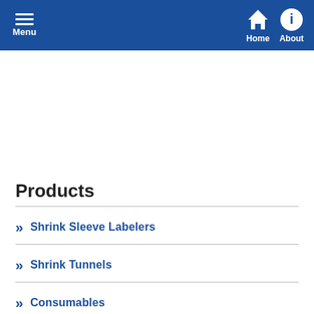Menu | Home | About
Products
Shrink Sleeve Labelers
Shrink Tunnels
Consumables
Support Accessory P...